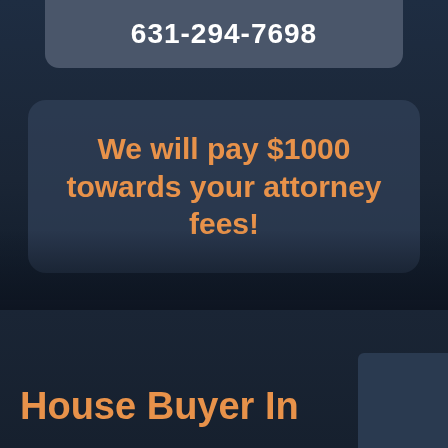631-294-7698
We will pay $1000 towards your attorney fees!
House Buyer In